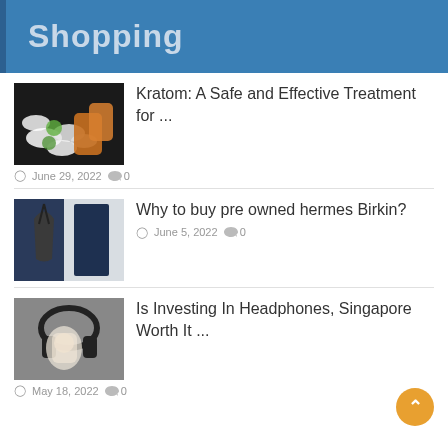Shopping
Kratom: A Safe and Effective Treatment for ...
June 29, 2022  0
Why to buy pre owned hermes Birkin?
June 5, 2022  0
Is Investing In Headphones, Singapore Worth It ...
May 18, 2022  0